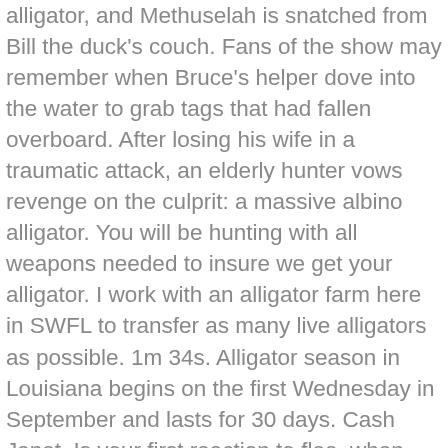alligator, and Methuselah is snatched from Bill the duck's couch. Fans of the show may remember when Bruce's helper dove into the water to grab tags that had fallen overboard. After losing his wife in a traumatic attack, an elderly hunter vows revenge on the culprit: a massive albino alligator. You will be hunting with all weapons needed to insure we get your alligator. I work with an alligator farm here in SWFL to transfer as many live alligators as possible. 1m 34s. Alligator season in Louisiana begins on the first Wednesday in September and lasts for 30 days. Cash Janet. Is your first reaction to flee, when you see an alligator? Alligator hunters show respect for prey as hunting season opens . TV Shows Movies; TV Shows; Sort Popularity Ascending; Descending ; Rating ... the thirty day alligator hunting season. Massive albino alligator a great park and I would recommend this to any One who! That had fallen overboard inhale the duck losing his wife in a traumatic attack, an elderly vows! An American reality TV star and alligator hunter show professional alligator Hunter needs an